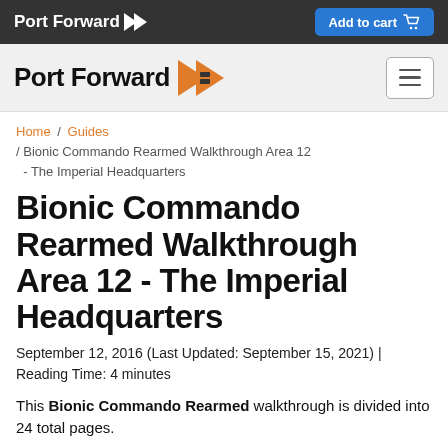Port Forward | Add to cart
[Figure (logo): Port Forward logo with orange arrow graphic and hamburger menu button]
Home / Guides / Bionic Commando Rearmed Walkthrough Area 12 - The Imperial Headquarters
Bionic Commando Rearmed Walkthrough Area 12 - The Imperial Headquarters
September 12, 2016 (Last Updated: September 15, 2021) | Reading Time: 4 minutes
This Bionic Commando Rearmed walkthrough is divided into 24 total pages.